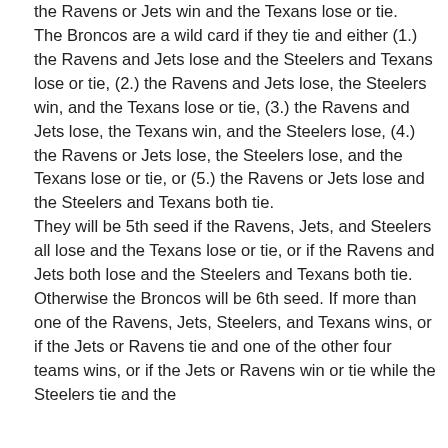the Ravens or Jets win and the Texans lose or tie. The Broncos are a wild card if they tie and either (1.) the Ravens and Jets lose and the Steelers and Texans lose or tie, (2.) the Ravens and Jets lose, the Steelers win, and the Texans lose or tie, (3.) the Ravens and Jets lose, the Texans win, and the Steelers lose, (4.) the Ravens or Jets lose, the Steelers lose, and the Texans lose or tie, or (5.) the Ravens or Jets lose and the Steelers and Texans both tie. They will be 5th seed if the Ravens, Jets, and Steelers all lose and the Texans lose or tie, or if the Ravens and Jets both lose and the Steelers and Texans both tie. Otherwise the Broncos will be 6th seed. If more than one of the Ravens, Jets, Steelers, and Texans wins, or if the Jets or Ravens tie and one of the other four teams wins, or if the Jets or Ravens win or tie while the Steelers tie and the